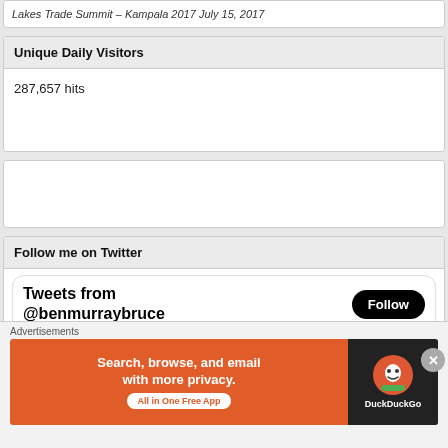Lakes Trade Summit – Kampala 2017 July 15, 2017
Unique Daily Visitors
287,657 hits
Follow me on Twitter
Tweets from @benmurraybruce
Ben Murra... @benmurr... · 9h
Advertisements
Search, browse, and email with more privacy. All in One Free App